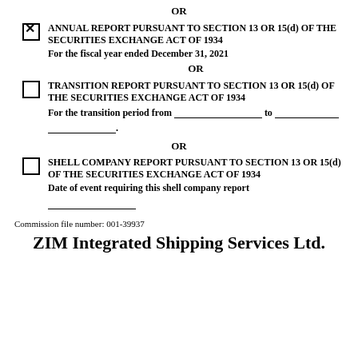OR
ANNUAL REPORT PURSUANT TO SECTION 13 OR 15(d) OF THE SECURITIES EXCHANGE ACT OF 1934
For the fiscal year ended December 31, 2021
OR
TRANSITION REPORT PURSUANT TO SECTION 13 OR 15(d) OF THE SECURITIES EXCHANGE ACT OF 1934
For the transition period from _____________ to _____________.
OR
SHELL COMPANY REPORT PURSUANT TO SECTION 13 OR 15(d) OF THE SECURITIES EXCHANGE ACT OF 1934
Date of event requiring this shell company report
Commission file number: 001-39937
ZIM Integrated Shipping Services Ltd.